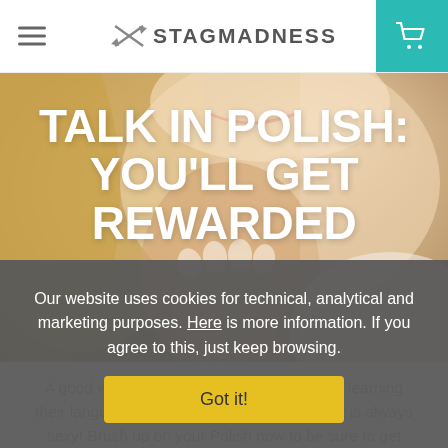STAGMADNESS
[Figure (photo): Close-up of a smiling blonde woman resting her chin on her hands, wearing a white top, soft warm tones]
TALK IN POLISH: YOU'LL GET REWARDED
A good way to get friendly with the locals, is learning their language, and take it from us, an accent is always sexy! Brush up on your Polish now to be sure to get special treatment.
Our website uses cookies for technical, analytical and marketing purposes. Here is more information. If you agree to this, just keep browsing.
Got it!